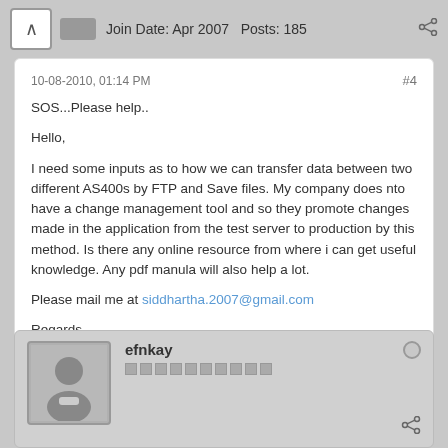Join Date: Apr 2007   Posts: 185
10-08-2010, 01:14 PM
#4
SOS...Please help..

Hello,

I need some inputs as to how we can transfer data between two different AS400s by FTP and Save files. My company does nto have a change management tool and so they promote changes made in the application from the test server to production by this method. Is there any online resource from where i can get useful knowledge. Any pdf manula will also help a lot.

Please mail me at siddhartha.2007@gmail.com

Regards,
Sid
efnkay